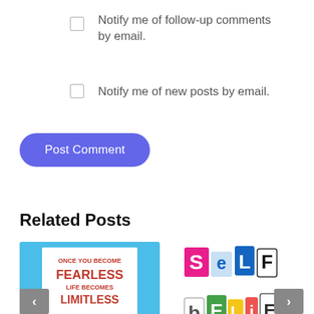Notify me of follow-up comments by email.
Notify me of new posts by email.
Post Comment
Related Posts
[Figure (photo): Motivational image: person holding sign that reads ONCE YOU BECOME FEARLESS LIFE BECOMES LIMITLESS against blue sky with clouds]
[Figure (illustration): Colorful collage text image spelling out SELF BELIEF in mixed colorful letter tiles]